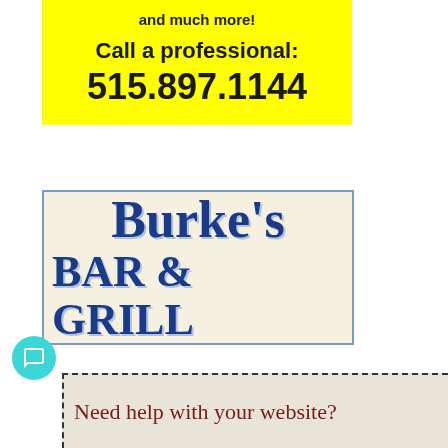and much more!
Call a professional: 515.897.1144
[Figure (logo): Burke's Bar & Grill sign with blue serif text on a cream/beige background with blue border]
Need help with your website?